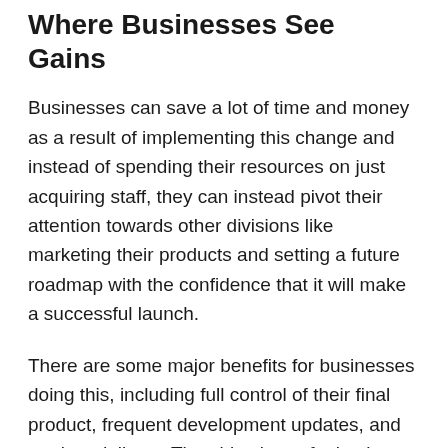Where Businesses See Gains
Businesses can save a lot of time and money as a result of implementing this change and instead of spending their resources on just acquiring staff, they can instead pivot their attention towards other divisions like marketing their products and setting a future roadmap with the confidence that it will make a successful launch.
There are some major benefits for businesses doing this, including full control of their final product, frequent development updates, and on-time delivery. The objectives of a business are fulfilled and can be scaled according to their project needs. Usually, software production is a huge investment and companies need to recruit experts individually before a project can even begin. Offshore development on the other hand allows businesses to immediately add